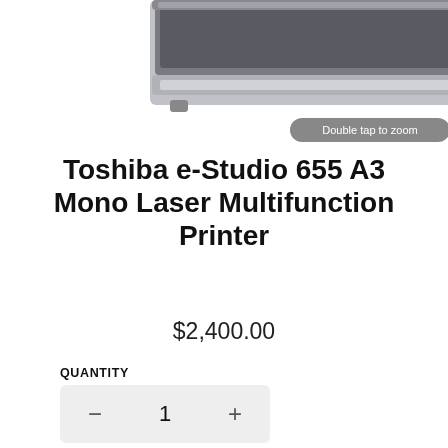[Figure (photo): Toshiba e-Studio 655 multifunction printer photo, with 'Double tap to zoom' overlay badge]
Toshiba e-Studio 655 A3 Mono Laser Multifunction Printer
$2,400.00
QUANTITY
1
ADD TO CART
CLICK FOR SPECIAL PRICE